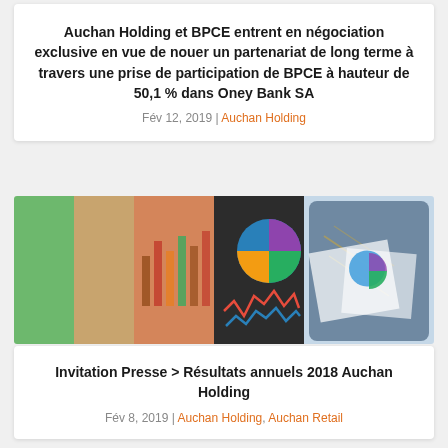Auchan Holding et BPCE entrent en négociation exclusive en vue de nouer un partenariat de long terme à travers une prise de participation de BPCE à hauteur de 50,1 % dans Oney Bank SA
Fév 12, 2019 | Auchan Holding
[Figure (photo): Colorful composite photo of financial charts and graphs including bar charts, pie charts, and line charts on papers and a tablet device]
Invitation Presse > Résultats annuels 2018 Auchan Holding
Fév 8, 2019 | Auchan Holding, Auchan Retail